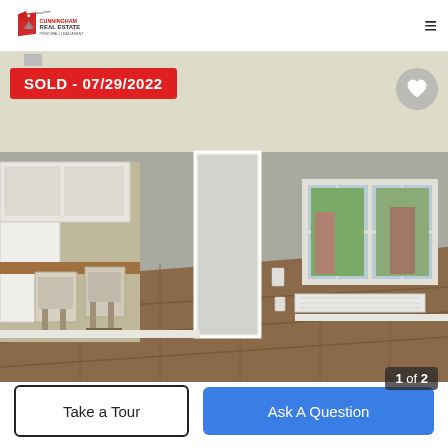Cunningham Real Estate logo and navigation
[Figure (photo): Interior photo of a renovated apartment with hardwood floors, dining chairs at a kitchen bar, white kitchen cabinets, open doorway, and double windows with natural light. A white baseboard heater is visible below the windows.]
SOLD - 07/29/2022
1 of 2
Take a Tour
Ask A Question